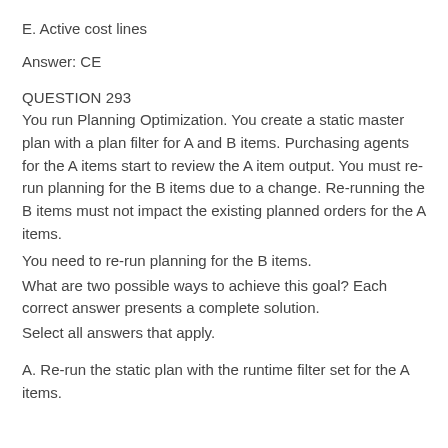E. Active cost lines
Answer: CE
QUESTION 293
You run Planning Optimization. You create a static master plan with a plan filter for A and B items. Purchasing agents for the A items start to review the A item output. You must re-run planning for the B items due to a change. Re-running the B items must not impact the existing planned orders for the A items.
You need to re-run planning for the B items.
What are two possible ways to achieve this goal? Each correct answer presents a complete solution.
Select all answers that apply.
A. Re-run the static plan with the runtime filter set for the A items.